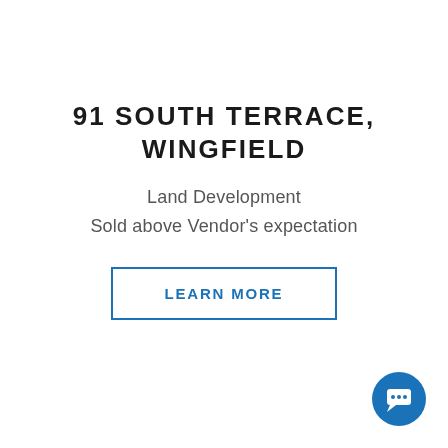91 SOUTH TERRACE, WINGFIELD
Land Development
Sold above Vendor's expectation
LEARN MORE
[Figure (illustration): Blue circular chat bubble icon in bottom-right corner]